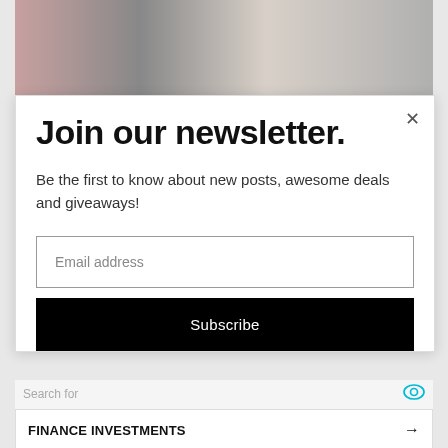[Figure (photo): Top image strip showing clothing on hangers — pink/grey/cream fabrics]
Join our newsletter.
Be the first to know about new posts, awesome deals and giveaways!
Email address
Subscribe
Search for
FINANCE INVESTMENTS
DOWNLOAD MOVIES ONLINE